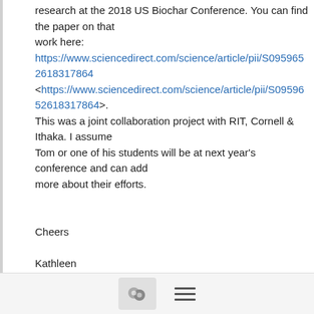research at the 2018 US Biochar Conference. You can find the paper on that work here: https://www.sciencedirect.com/science/article/pii/S09596526183178640 <https://www.sciencedirect.com/science/article/pii/S095965 2618317864>. This was a joint collaboration project with RIT, Cornell & Ithaka. I assume Tom or one of his students will be at next year's conference and can add more about their efforts.
Cheers
Kathleen